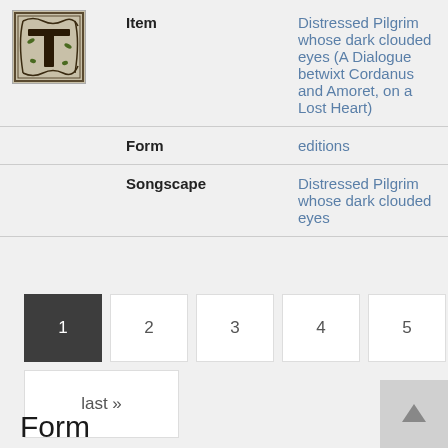[Figure (illustration): Decorative illuminated letter T in a woodcut/engraving style]
| Item | Distressed Pilgrim whose dark clouded eyes (A Dialogue betwixt Cordanus and Amoret, on a Lost Heart) |
| Form | editions |
| Songscape | Distressed Pilgrim whose dark clouded eyes |
1
2
3
4
5
next ›
last »
Form